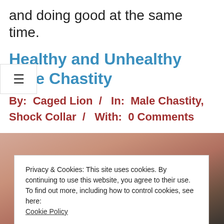and doing good at the same time.
Healthy and Unhealthy Male Chastity
By: Caged Lion / In: Male Chastity, Shock Collar / With: 0 Comments
[Figure (photo): Close-up photo of skin/body, partially obscured by cookie consent banner]
Privacy & Cookies: This site uses cookies. By continuing to use this website, you agree to their use.
To find out more, including how to control cookies, see here:
Cookie Policy
Close and accept